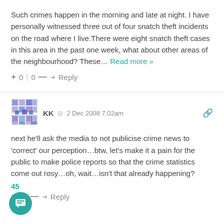Such crimes happen in the morning and late at night. I have personally witnessed three out of four snatch theft incidents on the road where I live.There were eight snatch theft cases in this area in the past one week, what about other areas of the neighbourhood? These… Read more »
+ 0 | 0 — → Reply
[Figure (illustration): Geometric mosaic avatar icon in blue/purple colors]
KK ⊙ 2 Dec 2008 7.02am
next he'll ask the media to not publicise crime news to 'correct' our perception…btw, let's make it a pain for the public to make police reports so that the crime statistics come out rosy…oh, wait…isn't that already happening?
45
0 | 0 — → Reply